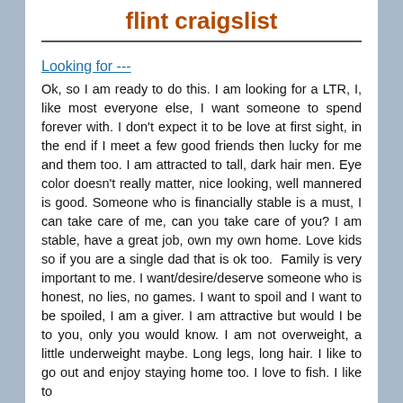flint craigslist
Looking for ---
Ok, so I am ready to do this. I am looking for a LTR, I, like most everyone else, I want someone to spend forever with. I don't expect it to be love at first sight, in the end if I meet a few good friends then lucky for me and them too. I am attracted to tall, dark hair men. Eye color doesn't really matter, nice looking, well mannered is good. Someone who is financially stable is a must, I can take care of me, can you take care of you? I am stable, have a great job, own my own home. Love kids so if you are a single dad that is ok too. Family is very important to me. I want/desire/deserve someone who is honest, no lies, no games. I want to spoil and I want to be spoiled, I am a giver. I am attractive but would I be to you, only you would know. I am not overweight, a little underweight maybe. Long legs, long hair. I like to go out and enjoy staying home too. I love to fish. I like to